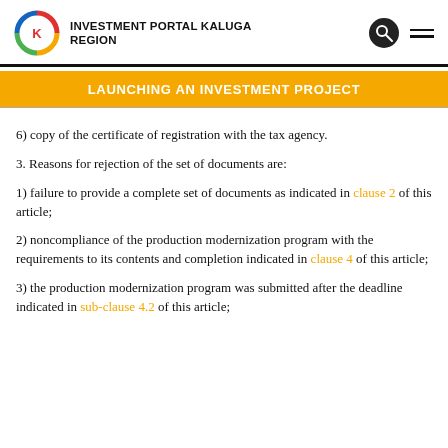INVESTMENT PORTAL KALUGA REGION
LAUNCHING AN INVESTMENT PROJECT
6) copy of the certificate of registration with the tax agency.
3. Reasons for rejection of the set of documents are:
1) failure to provide a complete set of documents as indicated in clause 2 of this article;
2) noncompliance of the production modernization program with the requirements to its contents and completion indicated in clause 4 of this article;
3) the production modernization program was submitted after the deadline indicated in sub-clause 4.2 of this article;